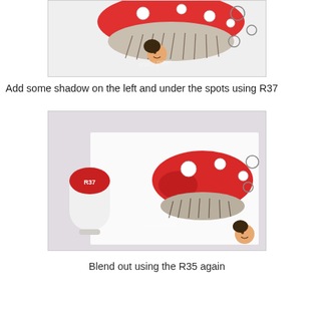[Figure (photo): Close-up photo of a colored illustration showing a cute fairy girl peeking out from under a large red and white spotted mushroom cap, with detailed shading on mushroom gills. Watermark 'Tracy Page' visible.]
Add some shadow on the left and under the spots using R37
[Figure (photo): Photo showing a Copic marker labeled R37 (dark red cap) placed next to a partially colored illustration of the same mushroom fairy, demonstrating the shading technique on the red mushroom cap. Watermark 'Tracy Page' visible.]
Blend out using the R35 again